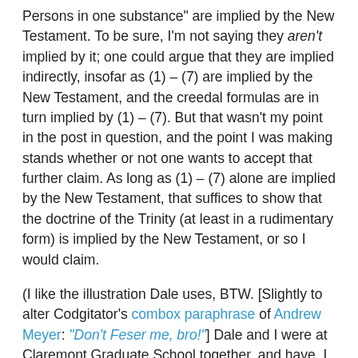Persons in one substance" are implied by the New Testament. To be sure, I'm not saying they aren't implied by it; one could argue that they are implied indirectly, insofar as (1) – (7) are implied by the New Testament, and the creedal formulas are in turn implied by (1) – (7). But that wasn't my point in the post in question, and the point I was making stands whether or not one wants to accept that further claim. As long as (1) – (7) alone are implied by the New Testament, that suffices to show that the doctrine of the Trinity (at least in a rudimentary form) is implied by the New Testament, or so I would claim.
(I like the illustration Dale uses, BTW. [Slightly to alter Codgitator's combox paraphrase of Andrew Meyer: "Don't Feser me, bro!"] Dale and I were at Claremont Graduate School together, and have, I suppose, been arguing about the Trinity on and off for over 15 years. The funny thing is, when we started arguing I was still an atheist and attacked the doctrine – two of my earliest published articles were critical of Trinitarianism – while Dale defended it. Now I'm a reactionary Catholic who insists on upholding every jot and tittle of the creeds, while Dale has in recent years taken a